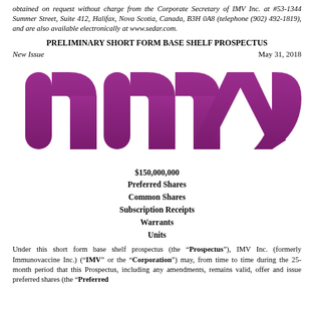obtained on request without charge from the Corporate Secretary of IMV Inc. at #53-1344 Summer Street, Suite 412, Halifax, Nova Scotia, Canada, B3H 0A8 (telephone (902) 492-1819), and are also available electronically at www.sedar.com.
PRELIMINARY SHORT FORM BASE SHELF PROSPECTUS
New Issue
May 31, 2018
[Figure (logo): IMV Inc. logo in purple/magenta color]
$150,000,000
Preferred Shares
Common Shares
Subscription Receipts
Warrants
Units
Under this short form base shelf prospectus (the "Prospectus"), IMV Inc. (formerly Immunovaccine Inc.) ("IMV" or the "Corporation") may, from time to time during the 25-month period that this Prospectus, including any amendments, remains valid, offer and issue preferred shares (the "Preferred Shares"), common shares (the "Common Shares") of the Corporation, debt